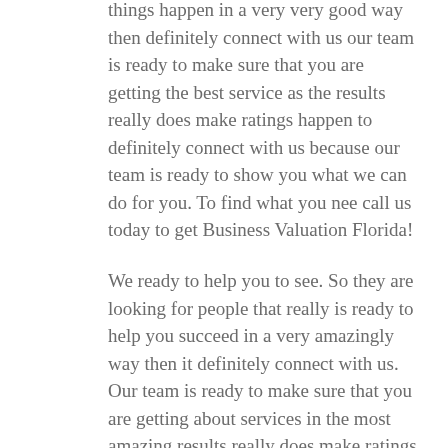things happen in a very very good way then definitely connect with us our team is ready to make sure that you are getting the best service as the results really does make ratings happen to definitely connect with us because our team is ready to show you what we can do for you. To find what you nee call us today to get Business Valuation Florida!
We ready to help you to see. So they are looking for people that really is ready to help you succeed in a very amazingly way then it definitely connect with us. Our team is ready to make sure that you are getting about services in the most amazing results really does make ratings happen in a very way server looking for people that really do care then you definitely connect with us because our team is ready to lead you don't have to recess. What you to definitely trust the attitude of the town when it comes to getting a matrix as a result it really does